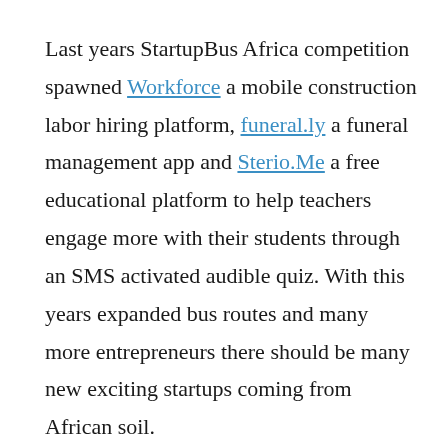Last years StartupBus Africa competition spawned Workforce a mobile construction labor hiring platform, funeral.ly a funeral management app and Sterio.Me a free educational platform to help teachers engage more with their students through an SMS activated audible quiz. With this years expanded bus routes and many more entrepreneurs there should be many new exciting startups coming from African soil.